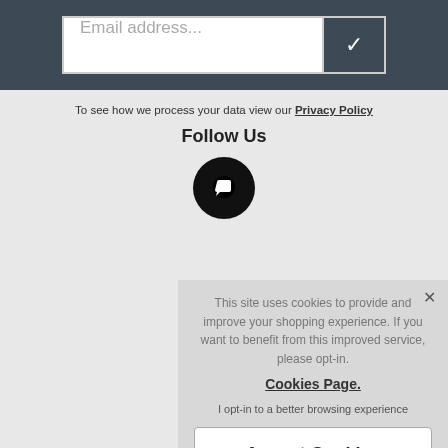[Figure (screenshot): Email address input field with placeholder text 'Email address...' and a dark submit button with a white checkmark on a dark background bar]
To see how we process your data view our Privacy Policy
Follow Us
[Figure (illustration): Black circular social media icon with a white speech bubble/comment icon inside]
This site uses cookies to provide and improve your shopping experience. If you want to benefit from this improved service, please opt-in. Cookies Page. I opt-in to a better browsing experience
Accept Cookies